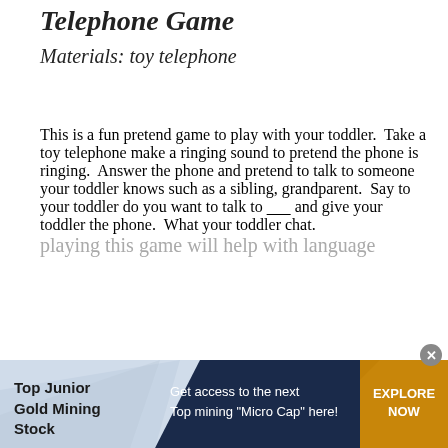Telephone Game
Materials: toy telephone
This is a fun pretend game to play with your toddler.  Take a toy telephone make a ringing sound to pretend the phone is ringing.  Answer the phone and pretend to talk to someone your toddler knows such as a sibling, grandparent.  Say to your toddler do you want to talk to _____ and give your toddler the phone.  What your toddler chat. playing this game will help with language
[Figure (infographic): Advertisement banner: Top Junior Gold Mining Stock — Get access to the next Top mining 'Micro Cap' here! — EXPLORE NOW button]